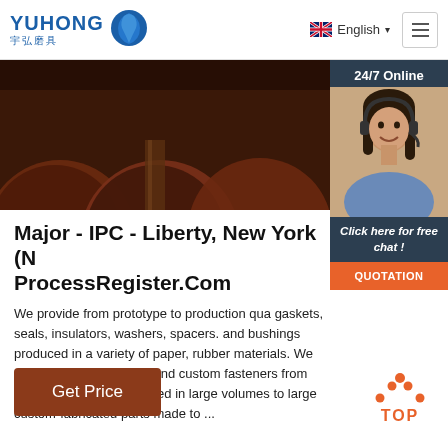YUHONG 宇弘磨具 | English | Menu
[Figure (photo): Hero banner showing dark reddish-brown grinding wheels/abrasive discs stacked together]
[Figure (photo): Sidebar panel with 24/7 Online text, female customer service agent wearing headset, Click here for free chat!, and QUOTATION button]
Major - IPC - Liberty, New York (N ProcessRegister.Com
We provide from prototype to production qua gaskets, seals, insulators, washers, spacers. and bushings produced in a variety of paper, rubber materials. We manufacture a wide ran and custom fasteners from miniature comme produced in large volumes to large custom-fabricated parts made to ...
[Figure (other): Orange TOP button with dotted arrow icon]
Get Price